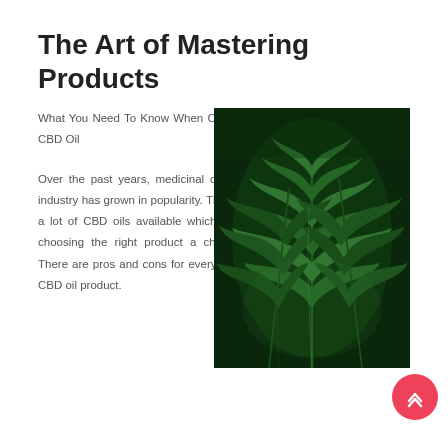The Art of Mastering Products
What You Need To Know When Choosing CBD Oil
Over the past years, medicinal cannabis industry has grown in popularity. There are a lot of CBD oils available which makes choosing the right product a challenge. There are pros and cons for every type of CBD oil product. CBD oil has been made legal in many regions. The concentration is different for different oils.
[Figure (photo): Close-up photo of green cannabis/marijuana leaves with dark background]